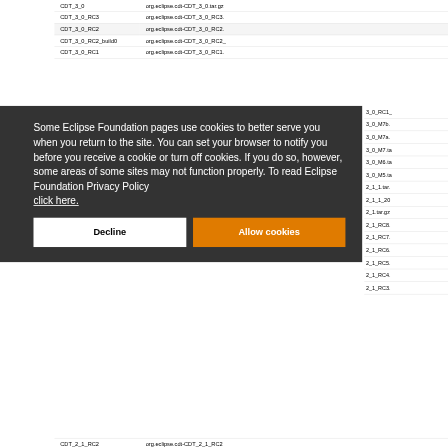| Tag | Archive |
| --- | --- |
| CDT_3_0 | org.eclipse.cdt-CDT_3_0.tar.gz |
| CDT_3_0_RC3 | org.eclipse.cdt-CDT_3_0_RC3. |
| CDT_3_0_RC2 | org.eclipse.cdt-CDT_3_0_RC2. |
| CDT_3_0_RC2_build0 | org.eclipse.cdt-CDT_3_0_RC2_ |
| CDT_3_0_RC1 | org.eclipse.cdt-CDT_3_0_RC1. |
Some Eclipse Foundation pages use cookies to better serve you when you return to the site. You can set your browser to notify you before you receive a cookie or turn off cookies. If you do so, however, some areas of some sites may not function properly. To read Eclipse Foundation Privacy Policy click here.
Decline
Allow cookies
| 3_0_RC1_ |
| 3_0_M7b. |
| 3_0_M7a. |
| 3_0_M7.ta |
| 3_0_M6.ta |
| 3_0_M5.ta |
| 2_1_1.tar. |
| 2_1_1_20 |
| 2_1.tar.gz |
| 2_1_RC8. |
| 2_1_RC7. |
| 2_1_RC6. |
| 2_1_RC5. |
| 2_1_RC4. |
| 2_1_RC3. |
| CDT_2_1_RC2 | org.eclipse.cdt-CDT_2_1_RC2 |